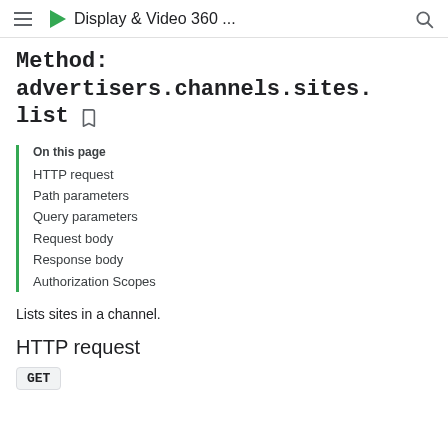Display & Video 360 ...
Method: advertisers.channels.sites.list
On this page
HTTP request
Path parameters
Query parameters
Request body
Response body
Authorization Scopes
Lists sites in a channel.
HTTP request
GET